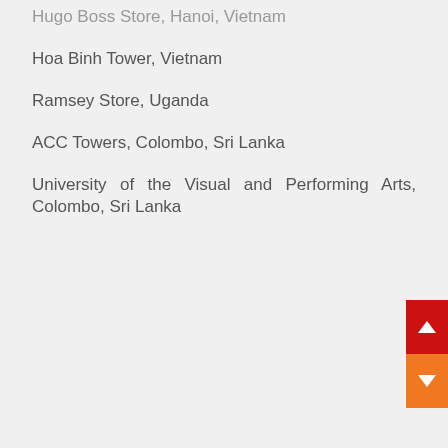Hugo Boss Store, Hanoi, Vietnam
Hoa Binh Tower, Vietnam
Ramsey Store, Uganda
ACC Towers, Colombo, Sri Lanka
University of the Visual and Performing Arts, Colombo, Sri Lanka